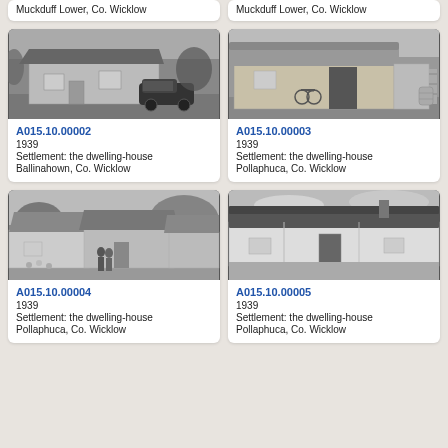[Figure (photo): Black and white photo of a thatched cottage with a vintage car parked outside, Ballinahown, Co. Wicklow]
A015.10.00002
1939
Settlement: the dwelling-house
Ballinahown, Co. Wicklow
[Figure (photo): Black and white photo of a thatched dwelling with bicycles leaning against the wall, Pollaphuca, Co. Wicklow]
A015.10.00003
1939
Settlement: the dwelling-house
Pollaphuca, Co. Wicklow
[Figure (photo): Black and white photo of thatched cottages with people standing outside, Pollaphuca, Co. Wicklow]
A015.10.00004
1939
Settlement: the dwelling-house
Pollaphuca, Co. Wicklow
[Figure (photo): Black and white photo of a whitewashed thatched dwelling, Pollaphuca, Co. Wicklow]
A015.10.00005
1939
Settlement: the dwelling-house
Pollaphuca, Co. Wicklow